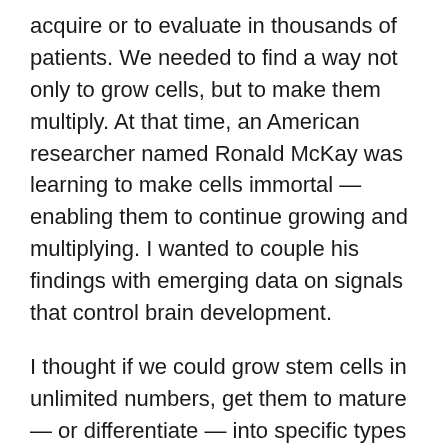acquire or to evaluate in thousands of patients. We needed to find a way not only to grow cells, but to make them multiply. At that time, an American researcher named Ronald McKay was learning to make cells immortal — enabling them to continue growing and multiplying. I wanted to couple his findings with emerging data on signals that control brain development.
I thought if we could grow stem cells in unlimited numbers, get them to mature — or differentiate — into specific types of cells, and then figure out how to give them to patients, we'd have the perfect system. That was my dream. So in 1996, I went to the National Institutes of Health to study with Ron McKay. I learned how to isolate neural stem cells and began seeking ways to make them mature into brain cells, called neurons.